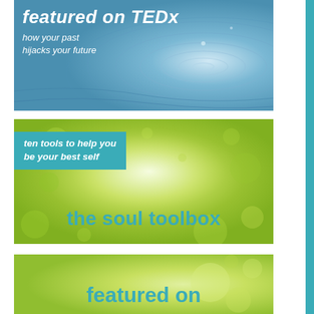[Figure (illustration): Blue water ripple book cover banner with text 'featured on TEDx' and subtitle 'how your past hijacks your future']
[Figure (illustration): Green bokeh book cover banner with teal box reading 'ten tools to help you be your best self' and main title 'the soul toolbox']
[Figure (illustration): Green bokeh banner with teal bold text 'featured on' at bottom]